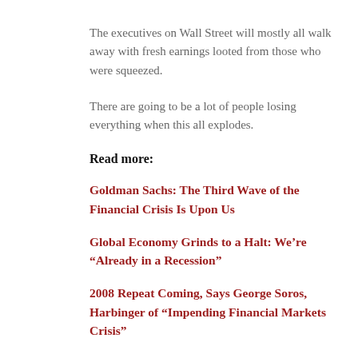The executives on Wall Street will mostly all walk away with fresh earnings looted from those who were squeezed.
There are going to be a lot of people losing everything when this all explodes.
Read more:
Goldman Sachs: The Third Wave of the Financial Crisis Is Upon Us
Global Economy Grinds to a Halt: We're “Already in a Recession”
2008 Repeat Coming, Says George Soros, Harbinger of “Impending Financial Markets Crisis”